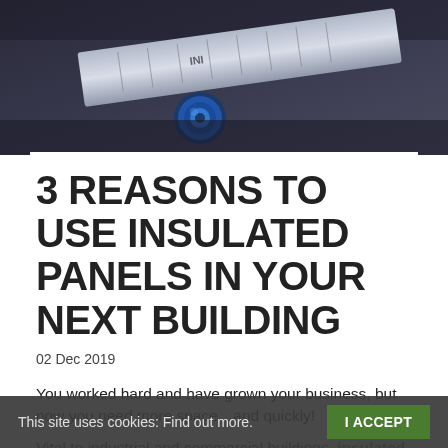[Figure (photo): Close-up photo of engineering/construction tools including a ruler/scale and a blue circular object (possibly a compass or fastener) on a dark background, suggesting blueprint or construction planning context.]
3 REASONS TO USE INSULATED PANELS IN YOUR NEXT BUILDING
02 Dec 2019
You worked hard and have grown your business, but now you need more space…and quickly!
Vital to industrial and commercial buildings, insulated panels provide a fast and cost-effective construction solution for all kinds of...
This site uses cookies: Find out more.  I ACCEPT